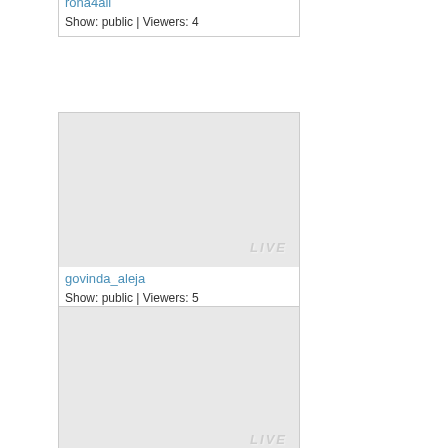[Figure (screenshot): Partial stream card for rona4all showing username link and metadata: Show: public | Viewers: 4]
rona4all
Show: public | Viewers: 4
[Figure (screenshot): Live stream card for govinda_aleja showing a gray thumbnail with LIVE badge in the bottom-right corner]
govinda_aleja
Show: public | Viewers: 5
[Figure (screenshot): Live stream card (partial) showing a gray thumbnail with LIVE badge in the bottom-right corner, content cut off at bottom]